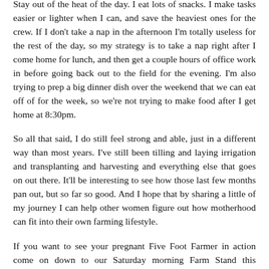Stay out of the heat of the day. I eat lots of snacks. I make tasks easier or lighter when I can, and save the heaviest ones for the crew. If I don't take a nap in the afternoon I'm totally useless for the rest of the day, so my strategy is to take a nap right after I come home for lunch, and then get a couple hours of office work in before going back out to the field for the evening. I'm also trying to prep a big dinner dish over the weekend that we can eat off of for the week, so we're not trying to make food after I get home at 8:30pm.
So all that said, I do still feel strong and able, just in a different way than most years. I've still been tilling and laying irrigation and transplanting and harvesting and everything else that goes on out there. It'll be interesting to see how those last few months pan out, but so far so good. And I hope that by sharing a little of my journey I can help other women figure out how motherhood can fit into their own farming lifestyle.
If you want to see your pregnant Five Foot Farmer in action come on down to our Saturday morning Farm Stand this summer, every week from 9:00am to 12:30pm at the farm!